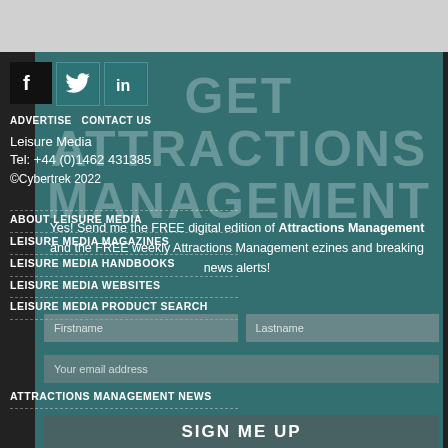[Figure (screenshot): Website footer/overlay page from Leisure Media / Attractions Management showing social media icons (Facebook, Twitter, LinkedIn), navigation links, contact info, copyright, and a newsletter signup form overlay with GET ATTRACTIONS MANAGEMENT large text]
ADVERTISE   CONTACT US
Leisure Media
Tel: +44 (0)1462 431385
©Cybertrek 2022
Yes! Send me the FREE digital edition of Attractions Management and the FREE weekly Attractions Management ezines and breaking news alerts!
ABOUT LEISURE MEDIA
LEISURE MEDIA MAGAZINES
LEISURE MEDIA HANDBOOKS
LEISURE MEDIA WEBSITES
LEISURE MEDIA PRODUCT SEARCH
ATTRACTIONS MANAGEMENT NEWS
SIGN ME UP